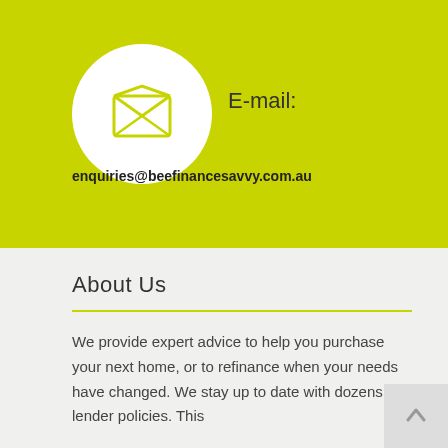[Figure (illustration): White circle with an open envelope/mail icon in lime-green outline style on a lime-green background]
E-mail:
enquiries@beefinancesavvy.com.au
About Us
We provide expert advice to help you purchase your next home, or to refinance when your needs have changed. We stay up to date with dozens of lender policies. This